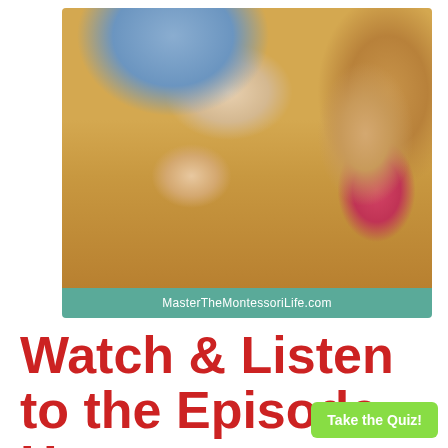[Figure (photo): Adult and young girl working together on a wooden puzzle with colorful pieces on a table. Adult wearing blue shirt, child with long light hair wearing pink. Website watermark 'MasterTheMontessoriLife.com' shown on teal banner at bottom of photo.]
MasterTheMontessoriLife.com
Watch & Listen to the Episode Here:
Take the Quiz!